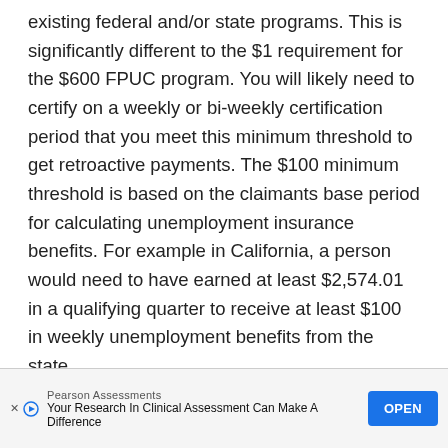existing federal and/or state programs. This is significantly different to the $1 requirement for the $600 FPUC program. You will likely need to certify on a weekly or bi-weekly certification period that you meet this minimum threshold to get retroactive payments. The $100 minimum threshold is based on the claimants base period for calculating unemployment insurance benefits. For example in California, a person would need to have earned at least $2,574.01 in a qualifying quarter to receive at least $100 in weekly unemployment benefits from the state.
[Figure (other): Advertisement banner: Pearson Assessments — 'Your Research In Clinical Assessment Can Make A Difference' with an OPEN button]